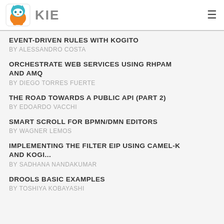KIE
EVENT-DRIVEN RULES WITH KOGITO
BY ALESSANDRO COSTA
ORCHESTRATE WEB SERVICES USING RHPAM AND AMQ
BY DIEGO TORRES FUERTE
THE ROAD TOWARDS A PUBLIC API (PART 2)
BY EDOARDO VACCHI
SMART SCROLL FOR BPMN/DMN EDITORS
BY WAGNER LEMOS
IMPLEMENTING THE FILTER EIP USING CAMEL-K AND KOGI...
BY SADHANA NANDAKUMAR
DROOLS BASIC EXAMPLES
BY TOSHIYA KOBAYASHI